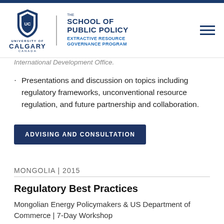THE SCHOOL OF PUBLIC POLICY — EXTRACTIVE RESOURCE GOVERNANCE PROGRAM — University of Calgary
International Development Office.
Presentations and discussion on topics including regulatory frameworks, unconventional resource regulation, and future partnership and collaboration.
ADVISING AND CONSULTATION
MONGOLIA | 2015
Regulatory Best Practices
Mongolian Energy Policymakers & US Department of Commerce | 7-Day Workshop
Lessons Learned from Oil and Gas Sector